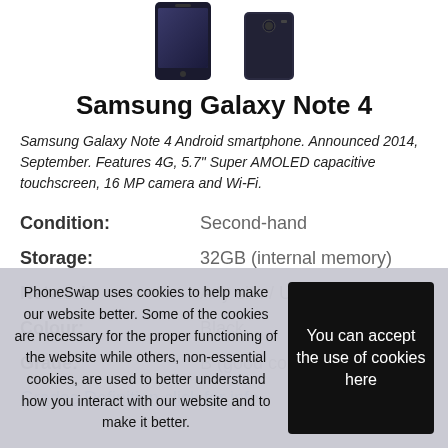[Figure (photo): Two Samsung Galaxy Note 4 smartphone images — front and back views — shown at the top of the page.]
Samsung Galaxy Note 4
Samsung Galaxy Note 4 Android smartphone. Announced 2014, September. Features 4G, 5.7" Super AMOLED capacitive touchscreen, 16 MP camera and Wi-Fi.
| Condition: | Second-hand |
| Storage: | 32GB (internal memory) |
| Network: | Any sim / Unlocked |
| Colour: | Black |
| Grade: | B (good condition) |
Grades Definition click for info
PhoneSwap uses cookies to help make our website better. Some of the cookies are necessary for the proper functioning of the website while others, non-essential cookies, are used to better understand how you interact with our website and to make it better.
You can accept the use of cookies here